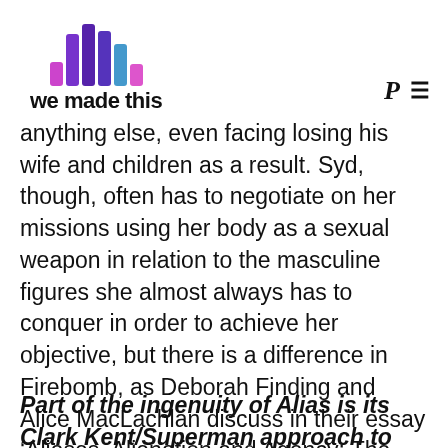we made this
anything else, even facing losing his wife and children as a result. Syd, though, often has to negotiate on her missions using her body as a sexual weapon in relation to the masculine figures she almost always has to conquer in order to achieve her objective, but there is a difference in Firebomb, as Deborah Finding and Alice MacLachlan discuss in their essay ‘Aliases, Alienation and Agency: The Physical Integrity of Sydney Bristow’ in Investigating Alias: Secrets and Spies:
Part of the ingenuity of Alias is its Clark Kent/Superman approach to